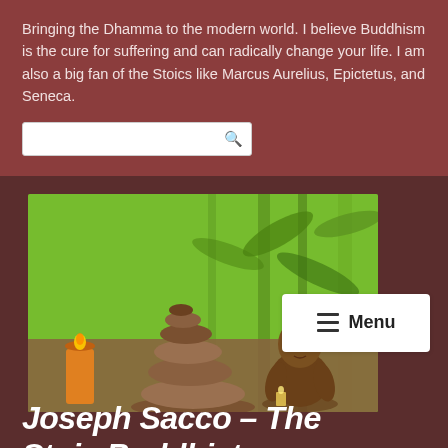Bringing the Dhamma to the modern world. I believe Buddhism is the cure for suffering and can radically change your life. I am also a big fan of the Stoics like Marcus Aurelius, Epictetus, and Seneca.
[Figure (photo): Search input box with magnifying glass icon on dark red background]
[Figure (photo): Buddha statue with stacked stones and candle against green bamboo background]
[Figure (other): Menu button with hamburger icon and text 'Menu']
Joseph Sacco – The Stoic Buddhist
Follow ...